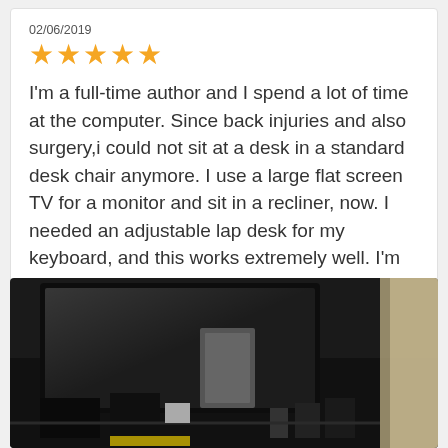02/06/2019
[Figure (other): Five gold star rating icons]
I'm a full-time author and I spend a lot of time at the computer. Since back injuries and also surgery,i could not sit at a desk in a standard desk chair anymore. I use a large flat screen TV for a monitor and sit in a recliner, now. I needed an adjustable lap desk for my keyboard, and this works extremely well. I'm finally comfortable and can get my work done.Highly recommended.
[Figure (photo): Photo of a home office setup with a large flat screen TV, computer equipment, and what appears to be a lap desk setup in a recliner area. Dark room with various electronics visible.]